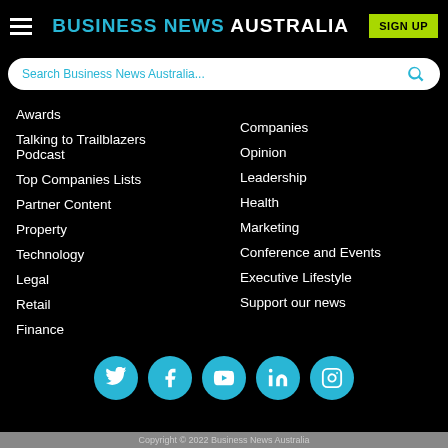BUSINESS NEWS AUSTRALIA
Search Business News Australia...
Awards
Talking to Trailblazers Podcast
Top Companies Lists
Partner Content
Property
Technology
Legal
Retail
Finance
Companies
Opinion
Leadership
Health
Marketing
Conference and Events
Executive Lifestyle
Support our news
[Figure (infographic): Social media icons row: Twitter, Facebook, YouTube, LinkedIn, Instagram]
Copyright © 2022 Business News Australia